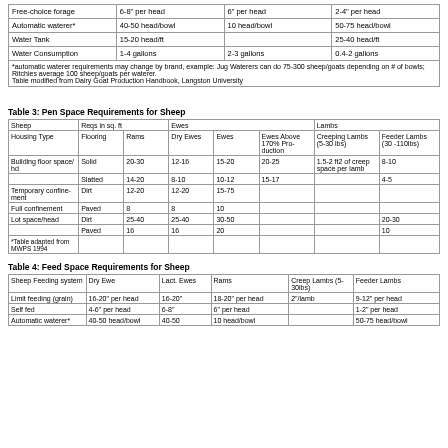|  | Goats | Sheep | Cattle |
| --- | --- | --- | --- |
| Free-choice forage | 6-8" per head | 6" per head | 2-4" per head |
| Automatic waterer* | 40-50 head/bowl | 10 head/bowl | 50-75 head/bowl |
| Water Tank | 15-20 head/ft |  | 25-40 head/ft |
| Water Consumption | 1-4 gallons | 2-3 gallons | 0.4-2 gallons |
*automatic waterer requirements may change by brand, example: Jug Waterers can do 75-300 sheep/goats depending on # of bowls; Ritchies average 100 sheep/goats per waterer.
Table modified from Dairy Goat Production Handbook, Langston University
Table 3: Pen Space Requirements for Sheep
| Sheep | Reqs in sq. ft |  | Ewes |  |  | Lambs |  |
| --- | --- | --- | --- | --- | --- | --- | --- |
| Housing Type | Flooring | Rams | Dry Ewes | Ewes | Ewes Above 170% Production | Creeping Lambs (5-30 lbs) | Feeder Lambs (30-110lbs) |
| Building floor space/hd | Solid | 20-30 | 12-16 | 15-20 | 20-25 | 1.5-2 ft2 of creep space per lamb | 8-10 |
|  | Slatted | 14-20 | 8-10 | 10-12 | 15-17 |  | 4-5 |
| Temporary confinement | Dirt | 12-20 | 12-20 | 15-75 |  |  |  |
| Full confinement | Paved | 8 | 8 | 10 |  |  |  |
| Lot space/head | Dirt | 25-40 | 25-40 | 30-50 |  |  | 20-30 |
|  | Paved | 16 | 16 | 20 |  |  | 10 |
| *Table adapted from MWPS 1994 |  |  |  |  |  |  |  |
Table 4: Feed Space Requirements for Sheep
| Sheep Feeding system | Dry Ewe | Lact. Ewes | Rams | Creep Lambs (5-30lbs) | Feeder Lambs |
| --- | --- | --- | --- | --- | --- |
| Limit feeding (grain) | 16-20" per head | 16-20" | 18-20" per head | 2"/lamb | 9-12" per head |
| Self fed | 4-6" per head | 6-8" | 6" per head |  | 1-2" per head |
| Automatic water-er* | 40-50 head/bowl | 40-50 | 10 head/bowl |  | 50-75 head/bowl |